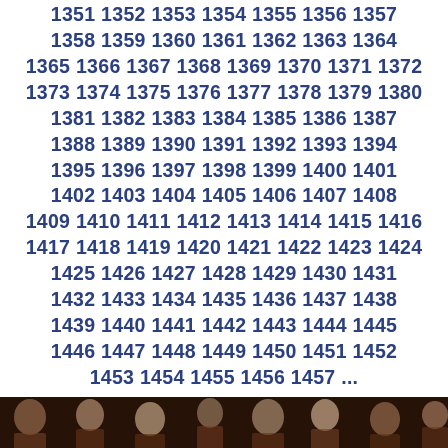1351 1352 1353 1354 1355 1356 1357 1358 1359 1360 1361 1362 1363 1364 1365 1366 1367 1368 1369 1370 1371 1372 1373 1374 1375 1376 1377 1378 1379 1380 1381 1382 1383 1384 1385 1386 1387 1388 1389 1390 1391 1392 1393 1394 1395 1396 1397 1398 1399 1400 1401 1402 1403 1404 1405 1406 1407 1408 1409 1410 1411 1412 1413 1414 1415 1416 1417 1418 1419 1420 1421 1422 1423 1424 1425 1426 1427 1428 1429 1430 1431 1432 1433 1434 1435 1436 1437 1438 1439 1440 1441 1442 1443 1444 1445 1446 1447 1448 1449 1450 1451 1452 1453 1454 1455 1456 1457 ...
[Figure (photo): Dark photo strip showing multiple people, movie cast silhouettes]
[Figure (screenshot): YouTube button (red) and Twitter Follow button (blue)]
[Figure (photo): Dark photo strip showing people, movie cast, bottom of page]